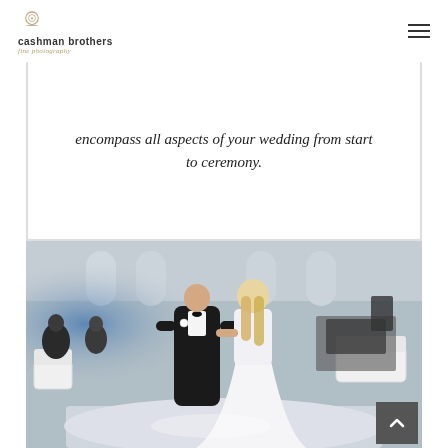cashman brothers fine photography
encompass all aspects of your wedding from start to ceremony.
[Figure (photo): Wedding reception photo showing a bride in a white ball gown and groom in a black tuxedo dancing on a white dance floor in an elegant ballroom with blue uplighting, white lounge furniture, and a DJ setup in the background.]